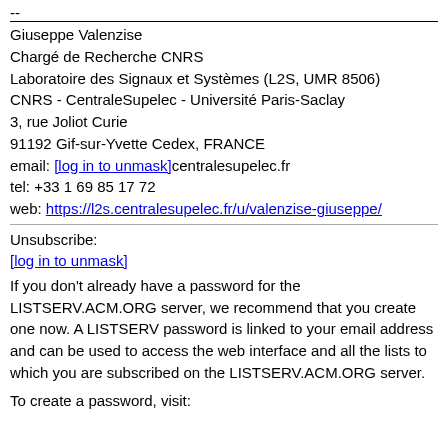--
Giuseppe Valenzise
Chargé de Recherche CNRS
Laboratoire des Signaux et Systèmes (L2S, UMR 8506)
CNRS - CentraleSupelec - Université Paris-Saclay
3, rue Joliot Curie
91192 Gif-sur-Yvette Cedex, FRANCE
email: [log in to unmask]centralesupelec.fr
tel: +33 1 69 85 17 72
web: https://l2s.centralesupelec.fr/u/valenzise-giuseppe/
Unsubscribe:
[log in to unmask]
If you don't already have a password for the LISTSERV.ACM.ORG server, we recommend that you create one now. A LISTSERV password is linked to your email address and can be used to access the web interface and all the lists to which you are subscribed on the LISTSERV.ACM.ORG server.
To create a password, visit: